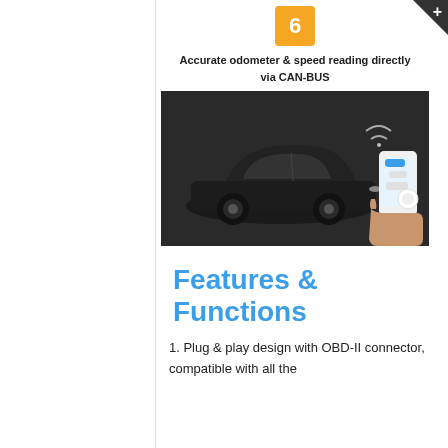[Figure (illustration): Orange square badge with the number 6 in white, centered]
Accurate odometer & speed reading directly via CAN-BUS
[Figure (photo): Black luxury sedan (Audi) on dark background with a hand holding a smartphone showing an app interface]
Features & Functions
1. Plug & play design with OBD-II connector, compatible with all the